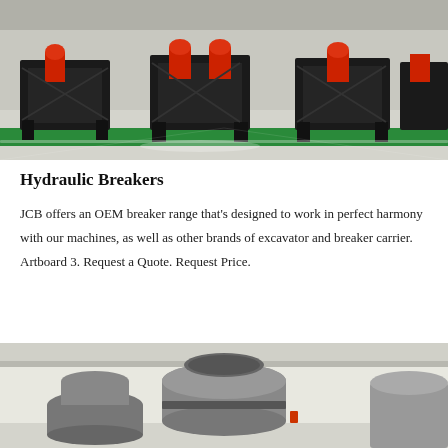[Figure (photo): Factory floor with multiple hydraulic breaker units mounted on black steel frames, with red hydraulic cylinders, in an industrial warehouse with green floor markings.]
Hydraulic Breakers
JCB offers an OEM breaker range that's designed to work in perfect harmony with our machines, as well as other brands of excavator and breaker carrier. Artboard 3. Request a Quote. Request Price.
[Figure (photo): Industrial cone crusher machine, grey colored, large cylindrical equipment in a warehouse setting.]